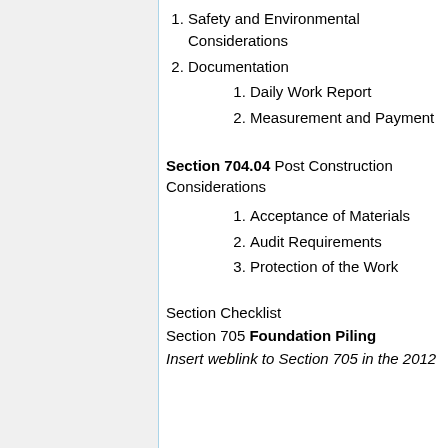1. Safety and Environmental Considerations
2. Documentation
1. Daily Work Report
2. Measurement and Payment
Section 704.04 Post Construction Considerations
1. Acceptance of Materials
2. Audit Requirements
3. Protection of the Work
Section Checklist
Section 705 Foundation Piling
Insert weblink to Section 705 in the 2012